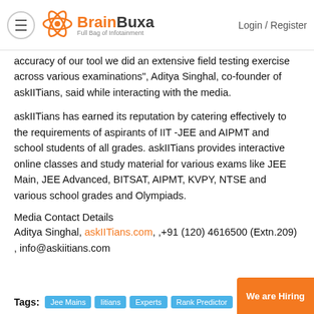BrainBuxa — Full Bag of Infotainment | Login / Register
accuracy of our tool we did an extensive field testing exercise across various examinations", Aditya Singhal, co-founder of askIITians, said while interacting with the media.
askIITians has earned its reputation by catering effectively to the requirements of aspirants of IIT -JEE and AIPMT and school students of all grades. askIITians provides interactive online classes and study material for various exams like JEE Main, JEE Advanced, BITSAT, AIPMT, KVPY, NTSE and various school grades and Olympiads.
Media Contact Details
Aditya Singhal, askIITians.com, ,+91 (120) 4616500 (Extn.209) , info@askiitians.com
Tags: Jee Mains  Iitians  Experts  Rank Predictor